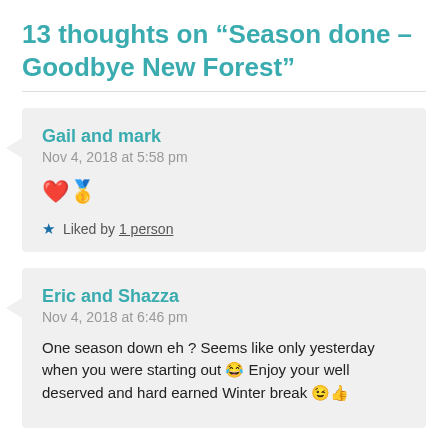13 thoughts on “Season done – Goodbye New Forest”
Gail and mark
Nov 4, 2018 at 5:58 pm
❤️🥇
★ Liked by 1 person
Eric and Shazza
Nov 4, 2018 at 6:46 pm
One season down eh ? Seems like only yesterday when you were starting out 😂 Enjoy your well deserved and hard earned Winter break 😉👍